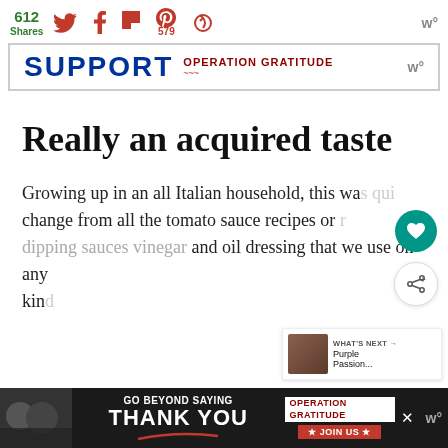612 Shares | Social share icons: Twitter, Facebook, Flipboard, Pinterest (579), Share
[Figure (screenshot): SUPPORT OPERATION GRATITUDE banner advertisement]
Really an acquired taste
Growing up in an all Italian household, this was quite a change from all the tomato sauce recipes or dipping sauces vinegar and oil dressing that we use on any kind
[Figure (screenshot): GO BEYOND SAYING THANK YOU - Operation Gratitude bottom banner advertisement]